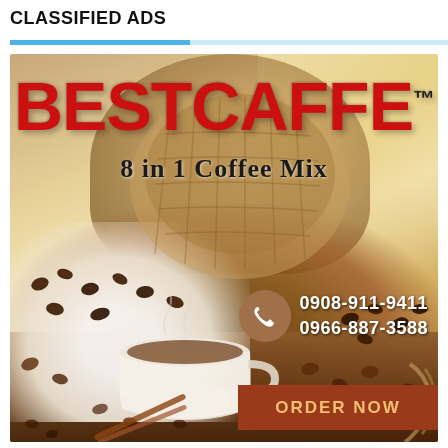CLASSIFIED ADS
[Figure (illustration): BestCaffe advertisement showing a large red bold brand name BESTCAFFE with TM mark, subtitle '8 in 1 Coffee Mix', background of coffee beans, burlap sack, white coffee cup, phone icon with numbers 0908-911-9411 and 0966-887-3588, and an ORDER NOW button on brown background.]